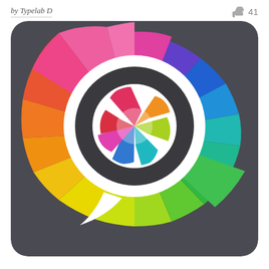by Typelab D
41
[Figure (logo): Colorful app icon with rounded rectangle shape. Background is a rainbow color wheel/pinwheel radiating from center with colors including pink, red, orange, yellow, green, teal, blue, purple on a dark gray outer edge. In the center is a white speech bubble/camera aperture logo shape - a circle with a tail at the bottom left. Inside the circle is a dark gray camera aperture/shutter icon filled with colorful segments: red, orange, yellow-green, pink/magenta, blue, teal/cyan.]